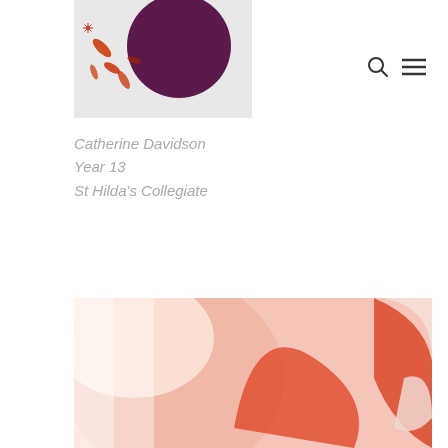[Figure (illustration): Artwork thumbnail showing a dark purple circle with autumn leaves and a small floral motif on a light grey background]
[Figure (illustration): Navigation icons: search (magnifying glass) and hamburger menu on white background]
Catherine Davidson
Year 13
St Hilda's Collegiate
[Figure (photo): Close-up abstract photo with soft pink, coral and red rounded shapes on a light background, partially cropped at bottom of page]